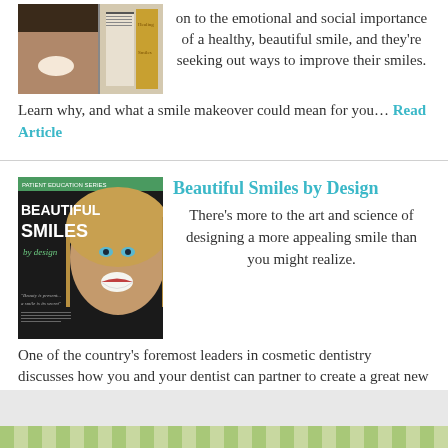on to the emotional and social importance of a healthy, beautiful smile, and they're seeking out ways to improve their smiles. Learn why, and what a smile makeover could mean for you… Read Article
[Figure (photo): Magazine page showing a woman smiling and a book cover]
[Figure (photo): Magazine cover titled 'Beautiful Smiles by Design' showing a woman with a bright smile]
Beautiful Smiles by Design
There's more to the art and science of designing a more appealing smile than you might realize. One of the country's foremost leaders in cosmetic dentistry discusses how you and your dentist can partner to create a great new look… Read Article